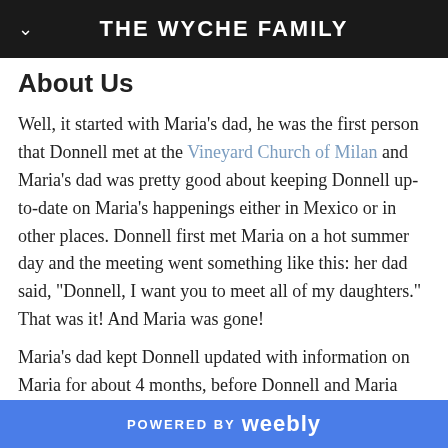THE WYCHE FAMILY
About Us
Well, it started with Maria's dad, he was the first person that Donnell met at the Vineyard Church of Milan and Maria's dad was pretty good about keeping Donnell up-to-date on Maria's happenings either in Mexico or in other places. Donnell first met Maria on a hot summer day and the meeting went something like this: her dad said, "Donnell, I want you to meet all of my daughters." That was it! And Maria was gone!
Maria's dad kept Donnell updated with information on Maria for about 4 months, before Donnell and Maria would meet again. This time Maria and Donnell met at a Senior High Youth Event
POWERED BY weebly